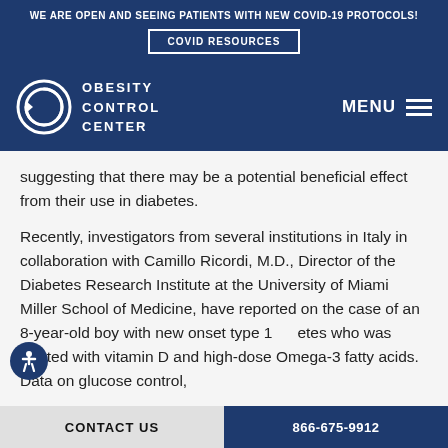WE ARE OPEN AND SEEING PATIENTS WITH NEW COVID-19 PROTOCOLS!
COVID RESOURCES
OBESITY CONTROL CENTER  MENU
suggesting that there may be a potential beneficial effect from their use in diabetes.
Recently, investigators from several institutions in Italy in collaboration with Camillo Ricordi, M.D., Director of the Diabetes Research Institute at the University of Miami Miller School of Medicine, have reported on the case of an 8-year-old boy with new onset type 1 diabetes who was treated with vitamin D and high-dose Omega-3 fatty acids. Data on glucose control,
CONTACT US  866-675-9912